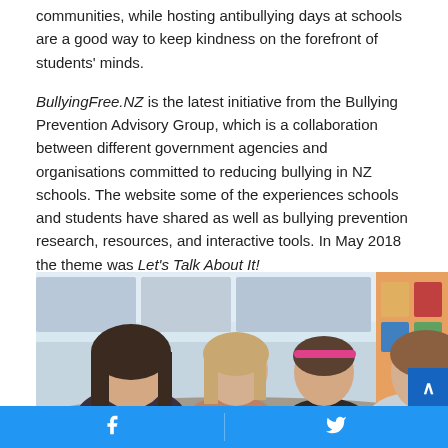communities, while hosting antibullying days at schools are a good way to keep kindness on the forefront of students' minds.
BullyingFree.NZ is the latest initiative from the Bullying Prevention Advisory Group, which is a collaboration between different government agencies and organisations committed to reducing bullying in NZ schools. The website some of the experiences schools and students have shared as well as bullying prevention research, resources, and interactive tools. In May 2018 the theme was Let's Talk About It!
[Figure (photo): Photograph of several primary school-age girls sitting together at a table in a classroom, appearing to be engaged in discussion or group work.]
Facebook | Twitter